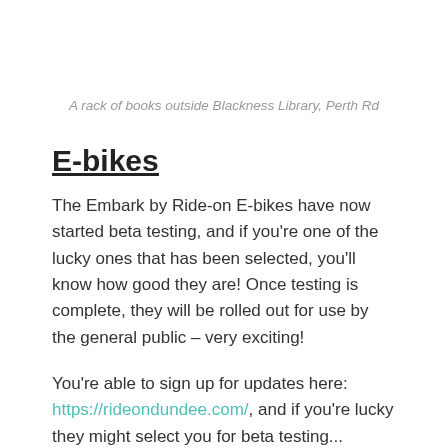A rack of books outside Blackness Library, Perth Rd
E-bikes
The Embark by Ride-on E-bikes have now started beta testing, and if you're one of the lucky ones that has been selected, you'll know how good they are! Once testing is complete, they will be rolled out for use by the general public – very exciting!
You're able to sign up for updates here: https://rideondundee.com/, and if you're lucky they might select you for beta testing...